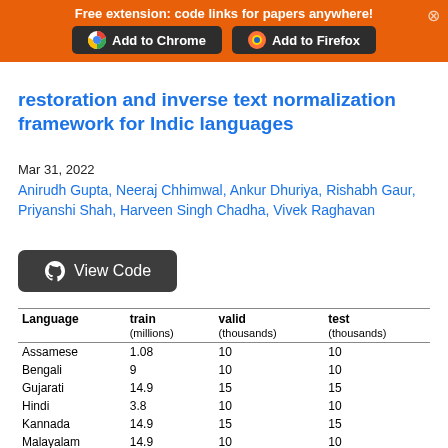Free extension: code links for papers anywhere!
[Figure (screenshot): Add to Chrome and Add to Firefox buttons on orange banner]
restoration and inverse text normalization framework for Indic languages
Mar 31, 2022
Anirudh Gupta, Neeraj Chhimwal, Ankur Dhuriya, Rishabh Gaur, Priyanshi Shah, Harveen Singh Chadha, Vivek Raghavan
[Figure (screenshot): View Code button with GitHub icon]
| Language | train
(millions) | valid
(thousands) | test
(thousands) |
| --- | --- | --- | --- |
| Assamese | 1.08 | 10 | 10 |
| Bengali | 9 | 10 | 10 |
| Gujarati | 14.9 | 15 | 15 |
| Hindi | 3.8 | 10 | 10 |
| Kannada | 14.9 | 15 | 15 |
| Malayalam | 14.9 | 10 | 10 |
| Marathi | 14.9 | 15 | 15 |
| Odia | 5.9 | 10 | 10 |
| Punjabi | 9.9 | 10 | 10 |
| Tamil | 9.9 | 10 | 10 |